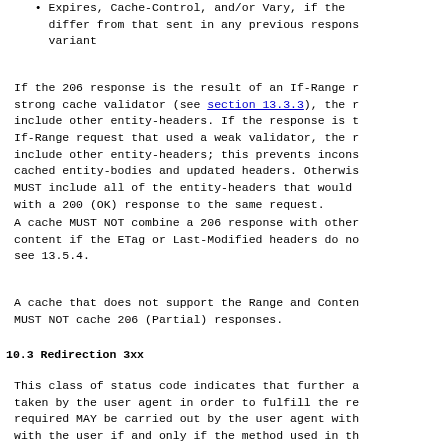Expires, Cache-control, and/or Vary, if the differ from that sent in any previous response for the variant
If the 206 response is the result of an If-Range request using a strong cache validator (see section 13.3.3), the response SHOULD NOT include other entity-headers. If the response is the result of an If-Range request that used a weak validator, the response MUST NOT include other entity-headers; this prevents inconsistencies between cached entity-bodies and updated headers. Otherwise, the response MUST include all of the entity-headers that would be returned with a 200 (OK) response to the same request.
A cache MUST NOT combine a 206 response with other cached content if the ETag or Last-Modified headers do not match, see 13.5.4.
A cache that does not support the Range and Content-Range headers MUST NOT cache 206 (Partial) responses.
10.3 Redirection 3xx
This class of status code indicates that further action must be taken by the user agent in order to fulfill the request. The action required MAY be carried out by the user agent without interaction with the user if and only if the method used in the second request is GET or HEAD. A client SHOULD detect infinite redirection loops, since such loops generate network traffic for each redirection.